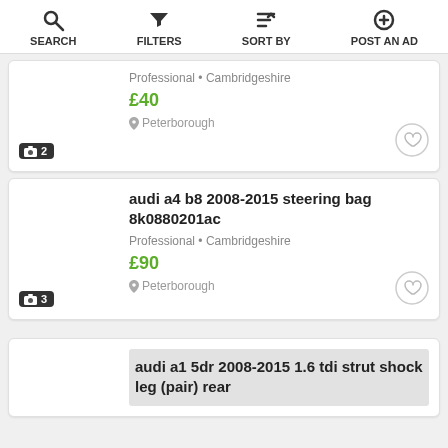SEARCH | FILTERS | SORT BY | POST AN AD
Professional • Cambridgeshire
£40
Peterborough
📷 2
audi a4 b8 2008-2015 steering bag 8k0880201ac
Professional • Cambridgeshire
£90
Peterborough
📷 3
audi a1 5dr 2008-2015 1.6 tdi strut shock leg (pair) rear